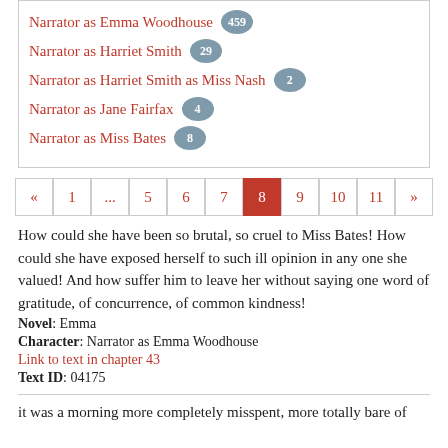Narrator as Emma Woodhouse 459
Narrator as Harriet Smith 29
Narrator as Harriet Smith as Miss Nash 2
Narrator as Jane Fairfax 4
Narrator as Miss Bates 8
Pagination: « 1 ... 5 6 7 8 9 10 11 »
How could she have been so brutal, so cruel to Miss Bates! How could she have exposed herself to such ill opinion in any one she valued! And how suffer him to leave her without saying one word of gratitude, of concurrence, of common kindness!
Novel: Emma
Character: Narrator as Emma Woodhouse
Link to text in chapter 43
Text ID: 04175
it was a morning more completely misspent, more totally bare of